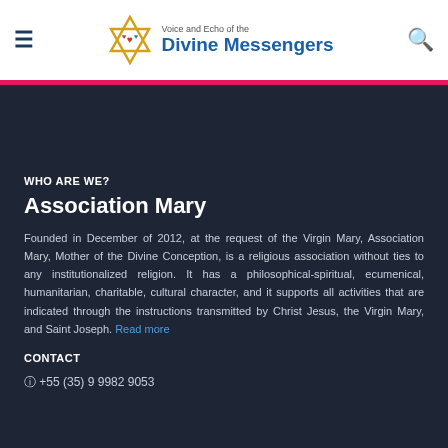Voice and Echo of the Divine Messengers
WHO ARE WE?
Association Mary
Founded in December of 2012, at the request of the Virgin Mary, Association Mary, Mother of the Divine Conception, is a religious association without ties to any institutionalized religion. It has a philosophical-spiritual, ecumenical, humanitarian, charitable, cultural character, and it supports all activities that are indicated through the instructions transmitted by Christ Jesus, the Virgin Mary, and Saint Joseph. Read more
CONTACT
+55 (35) 9 9982 9053